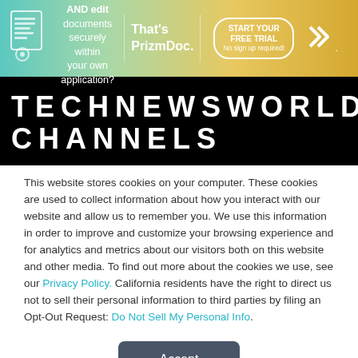[Figure (screenshot): Accusoft PrizmDoc advertisement banner with gradient background (teal to gold), document icon, text 'Need to view AND edit documents securely within your own application? That's PrizmDoc. START YOUR FREE TRIAL No sign up required!' and Accusoft logo.]
TECHNEWSWORLD CHANNELS
This website stores cookies on your computer. These cookies are used to collect information about how you interact with our website and allow us to remember you. We use this information in order to improve and customize your browsing experience and for analytics and metrics about our visitors both on this website and other media. To find out more about the cookies we use, see our Privacy Policy. California residents have the right to direct us not to sell their personal information to third parties by filing an Opt-Out Request: Do Not Sell My Personal Info.
Accept